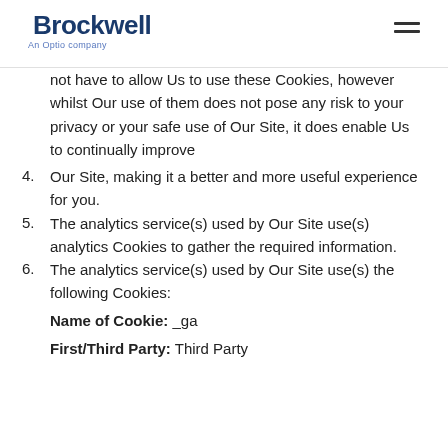Brockwell — An Optio company
not have to allow Us to use these Cookies, however whilst Our use of them does not pose any risk to your privacy or your safe use of Our Site, it does enable Us to continually improve
4. Our Site, making it a better and more useful experience for you.
5. The analytics service(s) used by Our Site use(s) analytics Cookies to gather the required information.
6. The analytics service(s) used by Our Site use(s) the following Cookies:
Name of Cookie: _ga
First/Third Party: Third Party